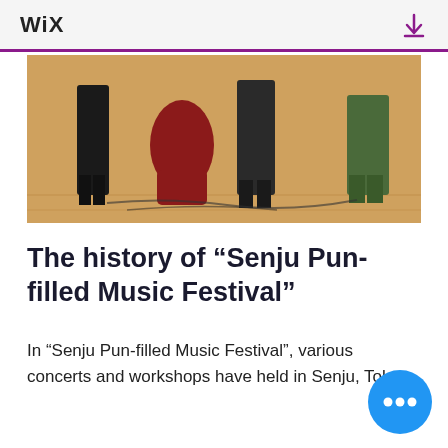WiX
[Figure (photo): People at a music event or rehearsal on a wooden floor, some kneeling, with cables on the ground.]
The history of “Senju Pun-filled Music Festival”
In “Senju Pun-filled Music Festival”, various concerts and workshops have held in Senju, Tokyo.
On March 17th, 2012, we presented a “Furofessional Concert” at a public bath house. “Furo” means “bath” in Japanese. This was the first concert of “Dajare Music.” In this concert, we made sounds